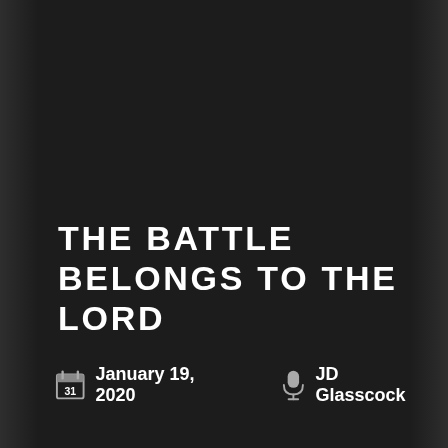THE BATTLE BELONGS TO THE LORD
January 19, 2020   JD Glasscock